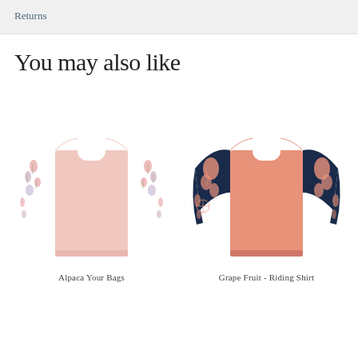Returns
You may also like
[Figure (photo): Pink long-sleeve rash guard shirt with floral patterned sleeves on white background]
Alpaca Your Bags
[Figure (photo): Salmon/coral long-sleeve rash guard shirt with dark navy blue butterfly/floral patterned sleeves]
Grape Fruit - Riding Shirt